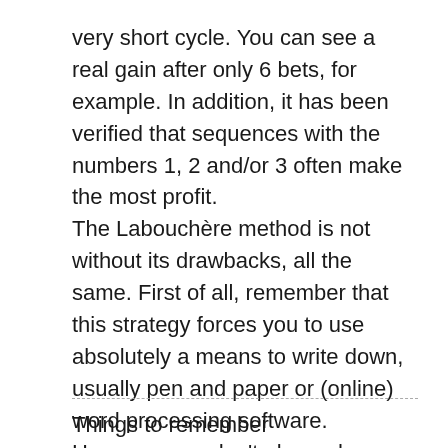very short cycle. You can see a real gain after only 6 bets, for example. In addition, it has been verified that sequences with the numbers 1, 2 and/or 3 often make the most profit.
The Labouchère method is not without its drawbacks, all the same. First of all, remember that this strategy forces you to use absolutely a means to write down, usually pen and paper or (online) word processing software. However, you don't always have a pen and paper when you go out on casino night. And it is not always easy to switch from word processing software and the casino application when you play on mobile.
Things to remember